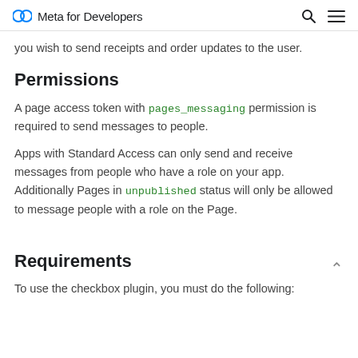Meta for Developers
you wish to send receipts and order updates to the user.
Permissions
A page access token with pages_messaging permission is required to send messages to people.
Apps with Standard Access can only send and receive messages from people who have a role on your app. Additionally Pages in unpublished status will only be allowed to message people with a role on the Page.
Requirements
To use the checkbox plugin, you must do the following: